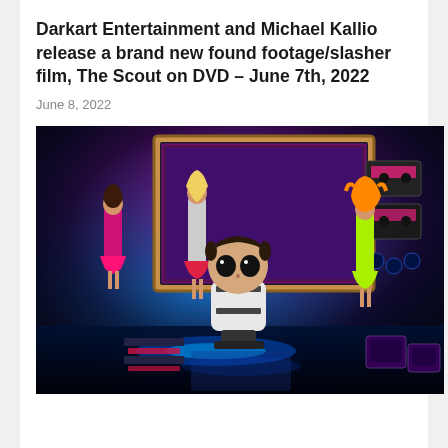Darkart Entertainment and Michael Kallio release a brand new found footage/slasher film, The Scout on DVD – June 7th, 2022
June 8, 2022
[Figure (photo): A colorful, neon-lit scene featuring Barbie dolls in flashy outfits and a Funko Pop figure arranged in front of a decorative mirror with pink and blue neon lighting, vintage cassette tapes, and miniature CRT televisions in the background.]